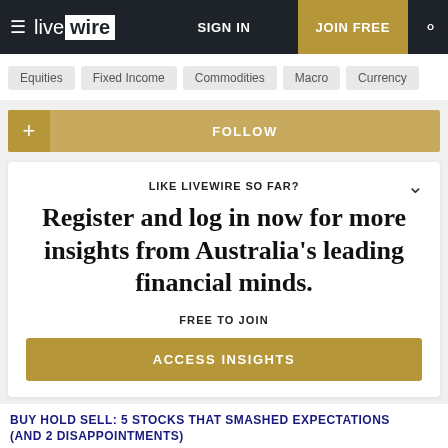livewire | SIGN IN | JOIN FREE
Equities
Fixed Income
Commodities
Macro
Currency
+ FOLLOW
LIKE LIVEWIRE SO FAR?
Register and log in now for more insights from Australia's leading financial minds.
FREE TO JOIN
ACCESS INSIGHTS
BUY HOLD SELL: 5 STOCKS THAT SMASHED EXPECTATIONS (AND 2 DISAPPOINTMENTS)